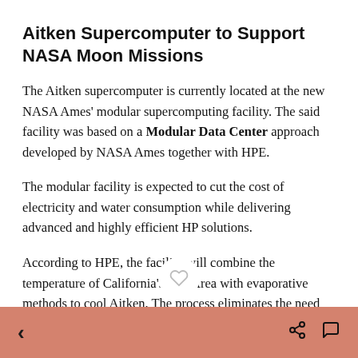Aitken Supercomputer to Support NASA Moon Missions
The Aitken supercomputer is currently located at the new NASA Ames' modular supercomputing facility. The said facility was based on a Modular Data Center approach developed by NASA Ames together with HPE.
The modular facility is expected to cut the cost of electricity and water consumption while delivering advanced and highly efficient HP solutions.
According to HPE, the facility will combine the temperature of California's Bay Area with evaporative methods to cool Aitken. The process eliminates the need for a cooling tower saving NASA thousands of dollars in costs.
< share chat